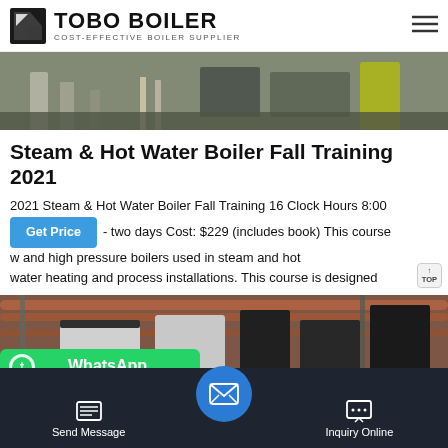TOBO BOILER — COST-EFFECTIVE BOILER SUPPLIER
[Figure (photo): Industrial boiler equipment photo, top portion showing mechanical components]
Steam & Hot Water Boiler Fall Training 2021
2021 Steam & Hot Water Boiler Fall Training 16 Clock Hours 8:00 - two days Cost: $229 (includes book) This course [covers] low and high pressure boilers used in steam and hot water heating and process installations. This course is designed
[Figure (photo): Industrial boiler room photo showing pipes and boiler units]
Send Message | Inquiry Online